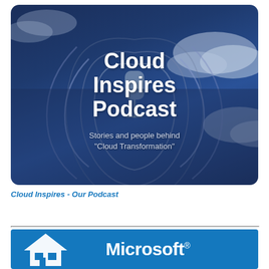[Figure (illustration): Cloud Inspires Podcast cover image with dark blue sky/clouds background, radio signal rings graphic, white text reading 'Cloud Inspires Podcast' and subtitle 'Stories and people behind "Cloud Transformation"']
Cloud Inspires - Our Podcast
[Figure (logo): Microsoft MVP logo on blue background with white house/roof icon on left and 'Microsoft®' text on right]